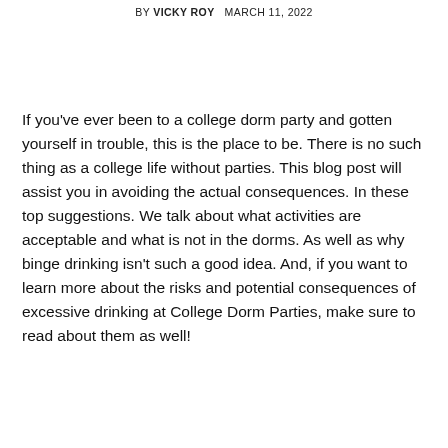BY VICKY ROY   MARCH 11, 2022
If you've ever been to a college dorm party and gotten yourself in trouble, this is the place to be. There is no such thing as a college life without parties. This blog post will assist you in avoiding the actual consequences. In these top suggestions. We talk about what activities are acceptable and what is not in the dorms. As well as why binge drinking isn't such a good idea. And, if you want to learn more about the risks and potential consequences of excessive drinking at College Dorm Parties, make sure to read about them as well!